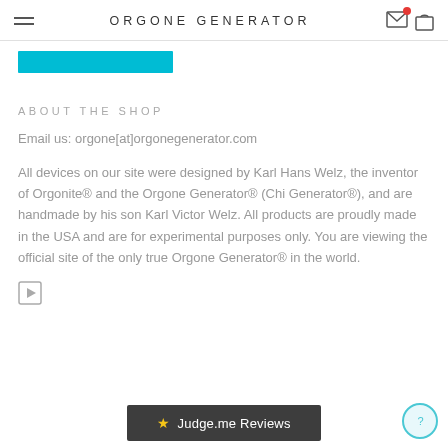ORGONE GENERATOR
[Figure (other): Cyan/teal rectangular button element]
ABOUT THE SHOP
Email us: orgone[at]orgonegenerator.com
All devices on our site were designed by Karl Hans Welz, the inventor of Orgonite® and the Orgone Generator® (Chi Generator®), and are handmade by his son Karl Victor Welz. All products are proudly made in the USA and are for experimental purposes only. You are viewing the official site of the only true Orgone Generator® in the world.
[Figure (other): Video play button icon (triangle in square)]
★ Judge.me Reviews